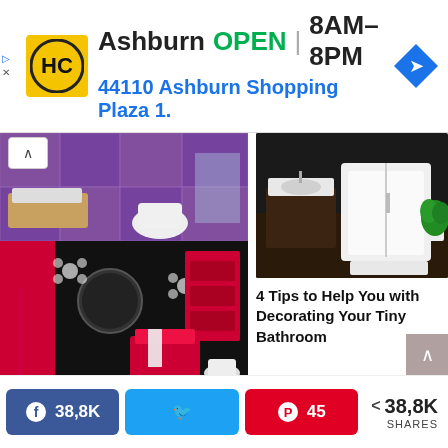[Figure (screenshot): Advertisement banner for HC hardware store in Ashburn, showing store logo, OPEN status, hours 8AM-8PM, and address 44110 Ashburn Shopping Plaza 1., with navigation arrow icon]
[Figure (photo): Collage of three bathroom interior photos: top shows modern bathroom with purple tiles and wall-mounted toilet; middle shows bold red and black bathroom design with round mirror; bottom shows bright minimalist bathroom with glass shower]
[Figure (photo): Photo of modern bathroom with white walk-in tub, dark wood vanity, and potted plant]
4 Tips to Help You with Decorating Your Tiny Bathroom
[Figure (infographic): Social share bar with Facebook 38,8K shares, Twitter share button, Pinterest 45 shares, and total 38,8K SHARES count]